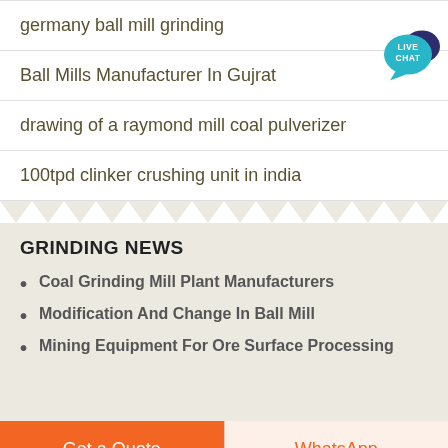germany ball mill grinding
Ball Mills Manufacturer In Gujrat
drawing of a raymond mill coal pulverizer
100tpd clinker crushing unit in india
GRINDING NEWS
Coal Grinding Mill Plant Manufacturers
Modification And Change In Ball Mill
Mining Equipment For Ore Surface Processing
Get a Quote
WhatsApp